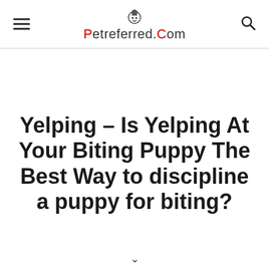Petreferred.Com
Yelping – Is Yelping At Your Biting Puppy The Best Way to discipline a puppy for biting?